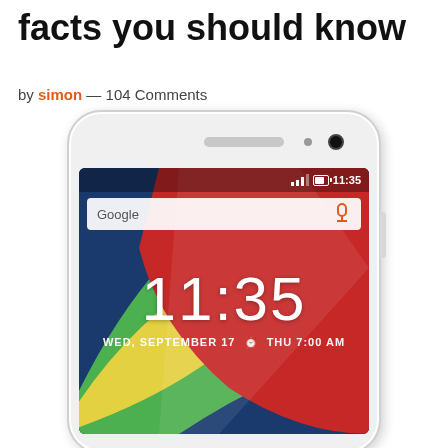facts you should know
by simon — 104 Comments
[Figure (photo): A white Motorola Moto G2 smartphone showing the lock screen with time 11:35, date WED, SEPTEMBER 17, alarm THU 7:00 AM, Google search bar, colorful curved wallpaper in red, green, blue and yellow. The phone has a white body with rounded corners, speaker grille, front camera, and side buttons visible.]